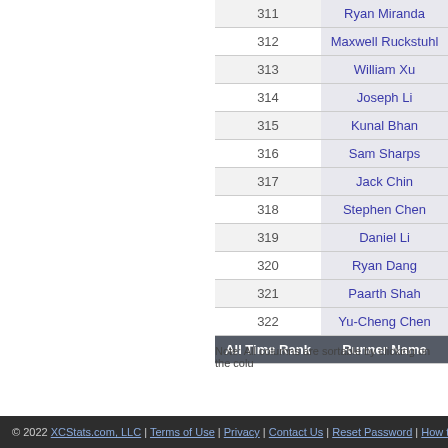| All Time Rank | Runner Name |
| --- | --- |
| 311 | Ryan Miranda |
| 312 | Maxwell Ruckstuhl |
| 313 | William Xu |
| 314 | Joseph Li |
| 315 | Kunal Bhan |
| 316 | Sam Sharps |
| 317 | Jack Chin |
| 318 | Stephen Chen |
| 319 | Daniel Li |
| 320 | Ryan Dang |
| 321 | Paarth Shah |
| 322 | Yu-Cheng Chen |
Note: All columns are sortable by clicking on the colu
© 2022 XCStats.com, LLC | Terms of Use | Privacy | Contact Us | Reset Password | How to